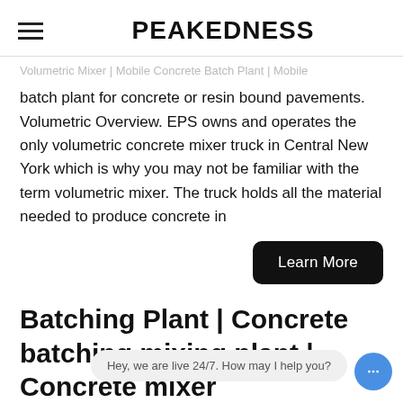PEAKEDNESS
Volumetric Mixer | Mobile Concrete Batch Plant | Mobile batch plant for concrete or resin bound pavements. Volumetric Overview. EPS owns and operates the only volumetric concrete mixer truck in Central New York which is why you may not be familiar with the term volumetric mixer. The truck holds all the material needed to produce concrete in
Learn More
Batching Plant | Concrete batching mixing plant | Concrete mixer
Hey, we are live 24/7. How may I help you?